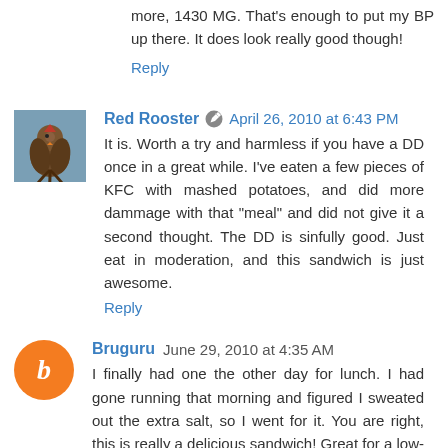more, 1430 MG. That's enough to put my BP up there. It does look really good though!
Reply
Red Rooster  April 26, 2010 at 6:43 PM
It is. Worth a try and harmless if you have a DD once in a great while. I've eaten a few pieces of KFC with mashed potatoes, and did more dammage with that "meal" and did not give it a second thought. The DD is sinfully good. Just eat in moderation, and this sandwich is just awesome.
Reply
Bruguru  June 29, 2010 at 4:35 AM
I finally had one the other day for lunch. I had gone running that morning and figured I sweated out the extra salt, so I went for it. You are right, this is really a delicious sandwich! Great for a low-carb diet too.
Thanks for the tip. I will be enjoying this again.